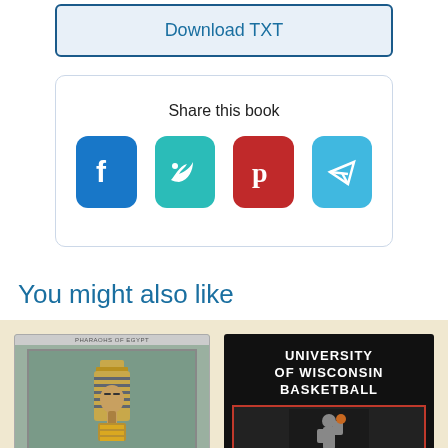[Figure (screenshot): Download TXT button with blue border and light blue background]
Share this book
[Figure (infographic): Social sharing icons: Facebook (blue), Twitter (teal), Pinterest (red), Telegram (light blue)]
You might also like
[Figure (photo): Book cover showing Egyptian pharaoh bust/mask, appears to be about Pharaohs of Egypt]
[Figure (photo): Book cover: University of Wisconsin Basketball, black cover with basketball player]